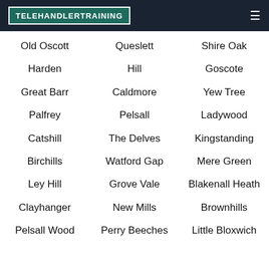TELEHANDLERTRAINING
Old Oscott
Queslett
Shire Oak
Harden
Hill
Goscote
Great Barr
Caldmore
Yew Tree
Palfrey
Pelsall
Ladywood
Catshill
The Delves
Kingstanding
Birchills
Watford Gap
Mere Green
Ley Hill
Grove Vale
Blakenall Heath
Clayhanger
New Mills
Brownhills
Pelsall Wood
Perry Beeches
Little Bloxwich